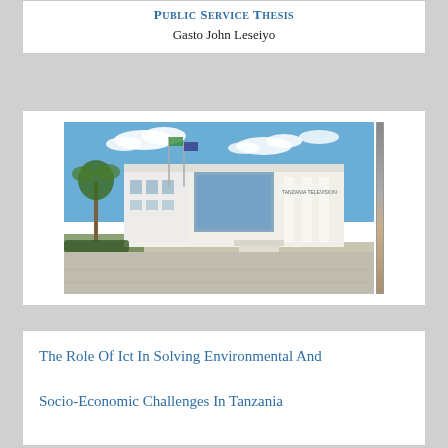Gasto John Leseiyo
[Figure (photo): Photograph of a modern white government or academic building with columns, large glass windows, flagpoles with flags, palm trees, and a blue sky with clouds. The building has signage that appears to read 'Tanzania Television'.]
The Role Of Ict In Solving Environmental And Socio-Economic Challenges In Tanzania